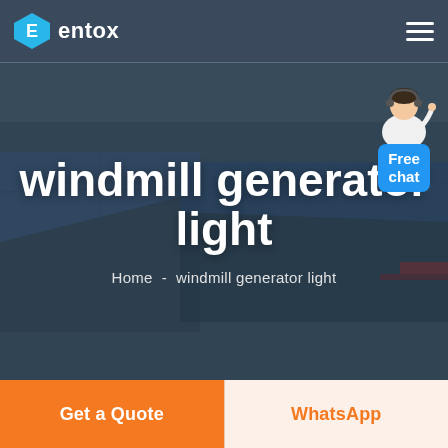entox
[Figure (photo): Aerial view of a large industrial complex with blue rooftops, used as hero background image]
windmill generator light
Home  -  windmill generator light
[Figure (illustration): Customer service avatar with Free chat bubble widget in top right corner]
Get a Quote
WhatsApp